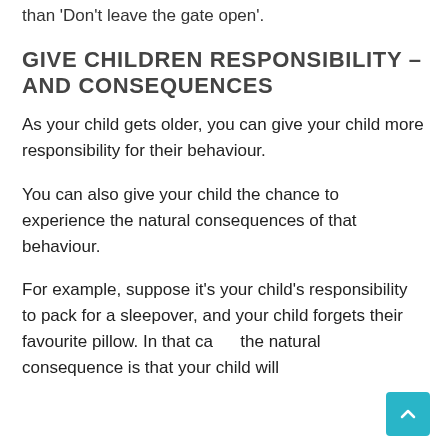than 'Don't leave the gate open'.
GIVE CHILDREN RESPONSIBILITY – AND CONSEQUENCES
As your child gets older, you can give your child more responsibility for their behaviour.
You can also give your child the chance to experience the natural consequences of that behaviour.
For example, suppose it's your child's responsibility to pack for a sleepover, and your child forgets their favourite pillow. In that ca... the natural consequence is that your child will